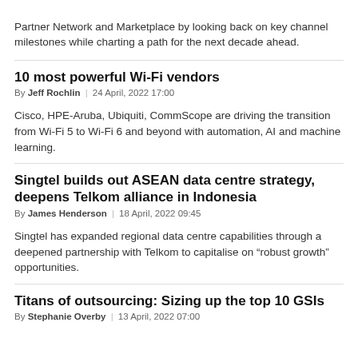Partner Network and Marketplace by looking back on key channel milestones while charting a path for the next decade ahead.
10 most powerful Wi-Fi vendors
By Jeff Rochlin | 24 April, 2022 17:00
Cisco, HPE-Aruba, Ubiquiti, CommScope are driving the transition from Wi-Fi 5 to Wi-Fi 6 and beyond with automation, AI and machine learning.
Singtel builds out ASEAN data centre strategy, deepens Telkom alliance in Indonesia
By James Henderson | 18 April, 2022 09:45
Singtel has expanded regional data centre capabilities through a deepened partnership with Telkom to capitalise on “robust growth” opportunities.
Titans of outsourcing: Sizing up the top 10 GSIs
By Stephanie Overby | 13 April, 2022 07:00